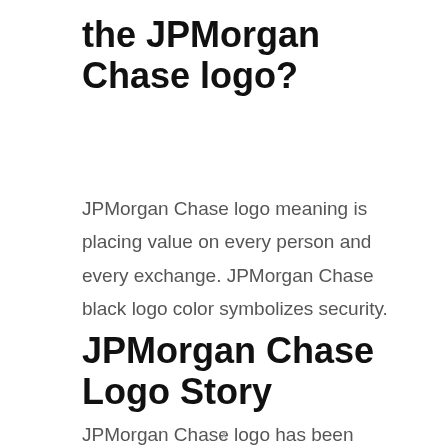the JPMorgan Chase logo?
JPMorgan Chase logo meaning is placing value on every person and every exchange. JPMorgan Chase black logo color symbolizes security.
JPMorgan Chase Logo Story
JPMorgan Chase logo has been created by the JPMorgan Chase... JPMorgan Chase...